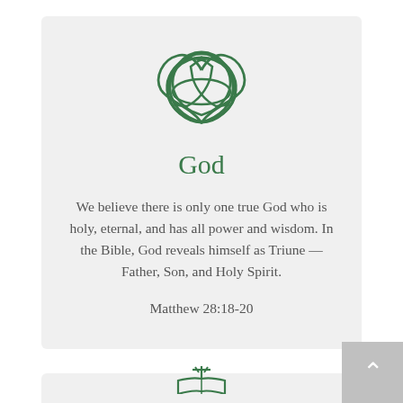[Figure (illustration): Triquetra (Trinity knot) symbol in green outline — three interlocking arcs forming a triangular Celtic symbol representing the Christian Trinity]
God
We believe there is only one true God who is holy, eternal, and has all power and wisdom. In the Bible, God reveals himself as Triune — Father, Son, and Holy Spirit.
Matthew 28:18-20
[Figure (illustration): Partial view of a green outline illustration of an open book with a cross or rays above it, visible at the bottom of the page]